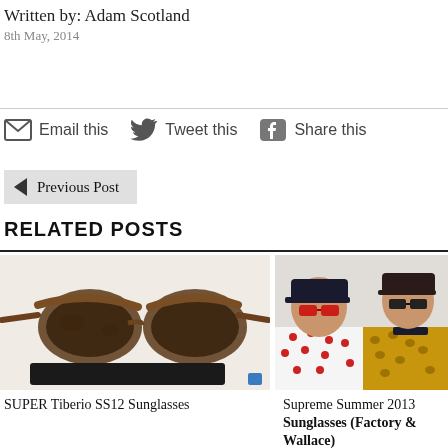Written by: Adam Scotland
8th May, 2014
Email this   Tweet this   Share this
Previous Post
RELATED POSTS
SUPER Tiberio SS12 Sunglasses
Supreme Summer 2013 Sunglasses (Factory & Wallace)